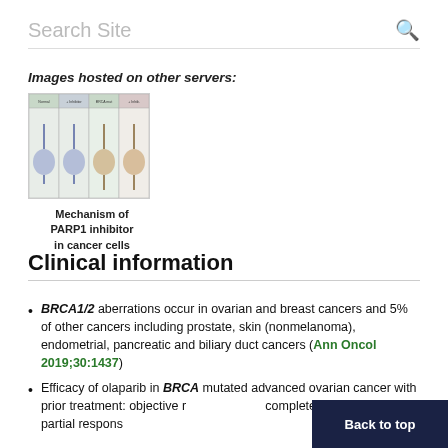Search Site
Images hosted on other servers:
[Figure (illustration): Diagram showing mechanism of PARP1 inhibitor in cancer cells — four panel figure with molecular pathway illustrations]
Mechanism of PARP1 inhibitor in cancer cells
Clinical information
BRCA1/2 aberrations occur in ovarian and breast cancers and 5% of other cancers including prostate, skin (nonmelanoma), endometrial, pancreatic and biliary duct cancers (Ann Oncol 2019;30:1437)
Efficacy of olaparib in BRCA mutated advanced ovarian cancer with prior treatment: objective r... complete response 2%, partial respons...